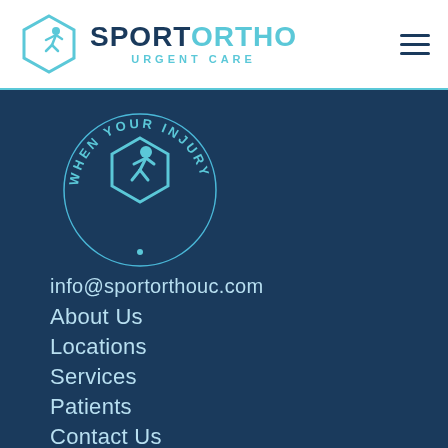[Figure (logo): SportOrtho Urgent Care logo with hexagon icon containing running figure, navy and light blue colors]
[Figure (logo): Circular badge reading WHEN YOUR INJURY CAN'T WAIT with hexagon running figure icon in light blue on dark blue background]
info@sportorthouc.com
About Us
Locations
Services
Patients
Contact Us
Booking